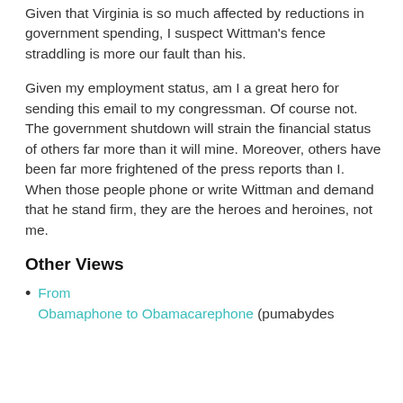Given that Virginia is so much affected by reductions in government spending, I suspect Wittman's fence straddling is more our fault than his.
Given my employment status, am I a great hero for sending this email to my congressman. Of course not. The government shutdown will strain the financial status of others far more than it will mine. Moreover, others have been far more frightened of the press reports than I. When those people phone or write Wittman and demand that he stand firm, they are the heroes and heroines, not me.
Other Views
From Obamaphone to Obamacarephone (pumabydes